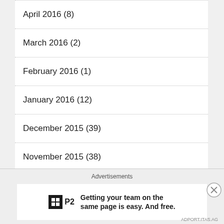April 2016 (8)
March 2016 (2)
February 2016 (1)
January 2016 (12)
December 2015 (39)
November 2015 (38)
October 2015 (39)
September 2015 (34)
August 2015 (36)
July 2015 (39)
Advertisements
P2 — Getting your team on the same page is easy. And free.